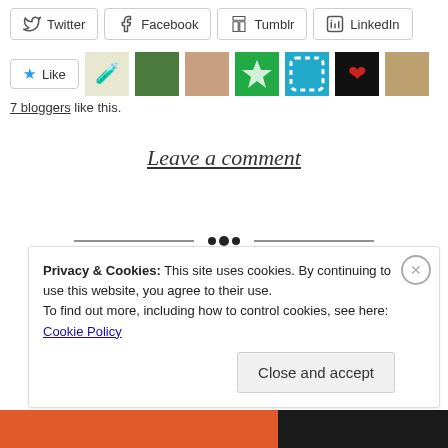[Figure (other): Social share buttons for Twitter, Facebook, Tumblr, LinkedIn]
[Figure (other): Like button with star icon and 7 blogger avatar thumbnails]
7 bloggers like this.
Leave a comment
[Figure (other): Decorative horizontal divider with ornamental dots in center]
Privacy & Cookies: This site uses cookies. By continuing to use this website, you agree to their use.
To find out more, including how to control cookies, see here: Cookie Policy
Close and accept